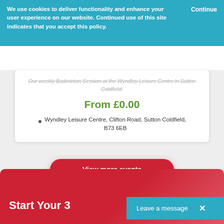We use cookies to deliver functionality and enhance your user experience on our website. Continued use of this site indicates that you accept this policy.
Continue
Our weekly Badminton Session at the Wyndley Leisure Centre in Sutton Coldfield.
From £0.00
Wyndley Leisure Centre, Clifton Road, Sutton Coldfield, B73 6EB
View more events
Start Your 3
Leave a message